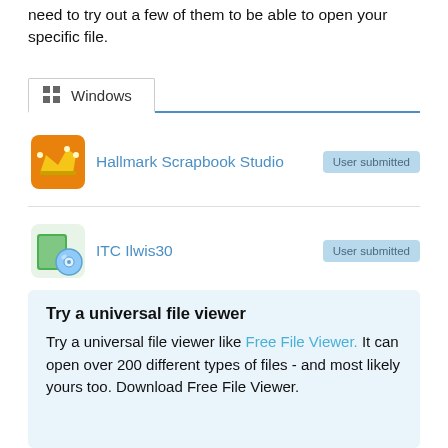need to try out a few of them to be able to open your specific file.
Windows
Hallmark Scrapbook Studio  User submitted
ITC Ilwis30  User submitted
Try a universal file viewer
Try a universal file viewer like Free File Viewer. It can open over 200 different types of files - and most likely yours too. Download Free File Viewer.